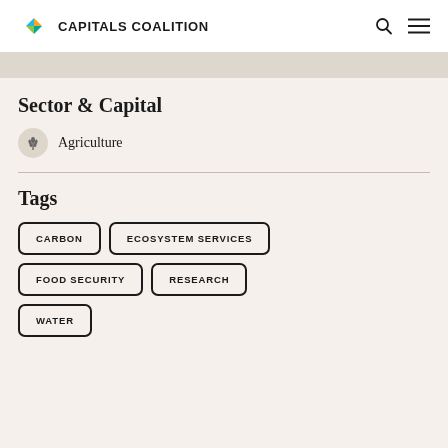CAPITALS COALITION
Sector & Capital
Agriculture
Tags
CARBON
ECOSYSTEM SERVICES
FOOD SECURITY
RESEARCH
WATER